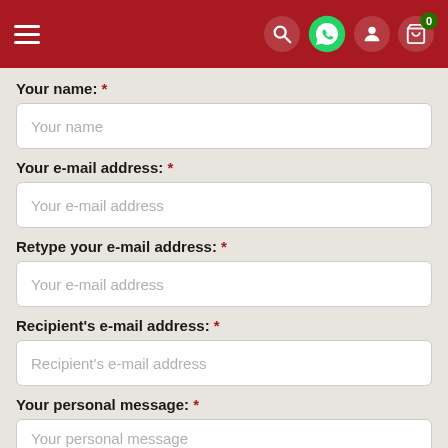[Figure (screenshot): Navigation header bar with hamburger menu on left (white lines), and icons on right: search (magnifier), WhatsApp (green circle with phone icon), user account (white circle with person icon), shopping cart (white circle with cart icon and badge showing '0') — all on dark red background]
Your name: *
Your e-mail address: *
Retype your e-mail address: *
Recipient's e-mail address: *
Your personal message: *